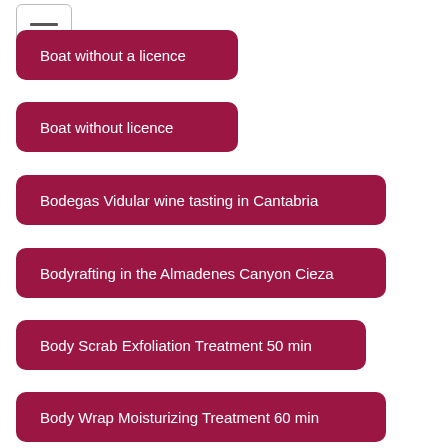[Figure (screenshot): Hamburger menu icon button with three horizontal lines inside a rounded rectangle border]
Boat without a licence
Boat without licence
Bodegas Vidular wine tasting in Cantabria
Bodyrafting in the Almadenes Canyon Cieza
Body Scrab Exfoliation Treatment 50 min
Body Wrap Moisturizing Treatment 60 min